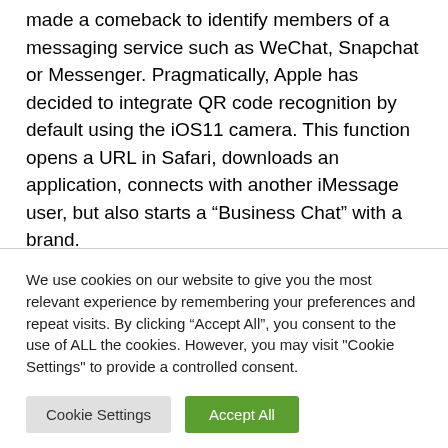made a comeback to identify members of a messaging service such as WeChat, Snapchat or Messenger. Pragmatically, Apple has decided to integrate QR code recognition by default using the iOS11 camera. This function opens a URL in Safari, downloads an application, connects with another iMessage user, but also starts a “Business Chat” with a brand.
We use cookies on our website to give you the most relevant experience by remembering your preferences and repeat visits. By clicking “Accept All”, you consent to the use of ALL the cookies. However, you may visit "Cookie Settings" to provide a controlled consent.